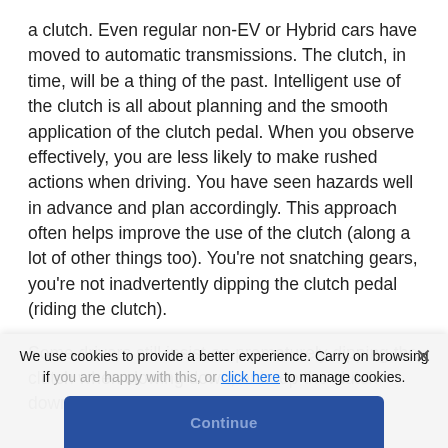a clutch. Even regular non-EV or Hybrid cars have moved to automatic transmissions. The clutch, in time, will be a thing of the past. Intelligent use of the clutch is all about planning and the smooth application of the clutch pedal. When you observe effectively, you are less likely to make rushed actions when driving. You have seen hazards well in advance and plan accordingly. This approach often helps improve the use of the clutch (along a lot of other things too). You're not snatching gears, you're not inadvertently dipping the clutch pedal (riding the clutch).
Some drivers still insist on prematurely dipping the clutch when slowing down, or keep the clutch down
We use cookies to provide a better experience. Carry on browsing if you are happy with this, or click here to manage cookies.